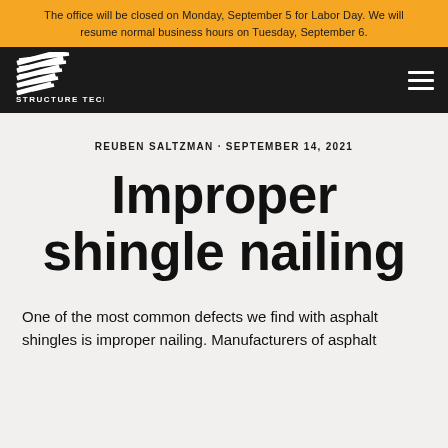The office will be closed on Monday, September 5 for Labor Day. We will resume normal business hours on Tuesday, September 6.
[Figure (logo): Structure Tech logo — stylized diagonal lines forming a shape, with 'STRUCTURE TECH' text below, white on dark background]
REUBEN SALTZMAN · SEPTEMBER 14, 2021
Improper shingle nailing
One of the most common defects we find with asphalt shingles is improper nailing. Manufacturers of asphalt